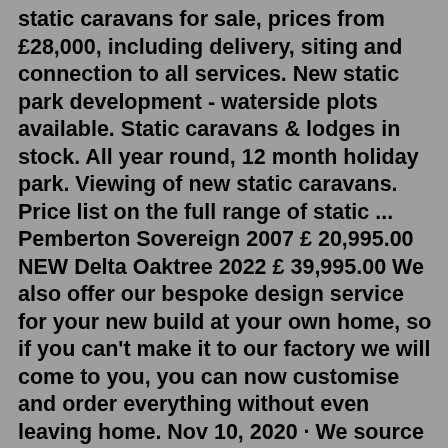static caravans for sale, prices from £28,000, including delivery, siting and connection to all services. New static park development - waterside plots available. Static caravans & lodges in stock. All year round, 12 month holiday park. Viewing of new static caravans. Price list on the full range of static ... Pemberton Sovereign 2007 £ 20,995.00 NEW Delta Oaktree 2022 £ 39,995.00 We also offer our bespoke design service for your new build at your own home, so if you can't make it to our factory we will come to you, you can now customise and order everything without even leaving home. Nov 10, 2020 · We source our pre-owned static caravans and lodges from all across the UK, ensuring they pass our rigorous standards. They are then showcased on our website and at our showground ready to sell to you. We are able to supply you with all you need to make a decision. This includes; specifications, images, videos, and even an exclusive guarantee. Camping Almafra is a five star Caravan touring and Static Caravan park on the outskirts of Benidorm, Spain. The C...